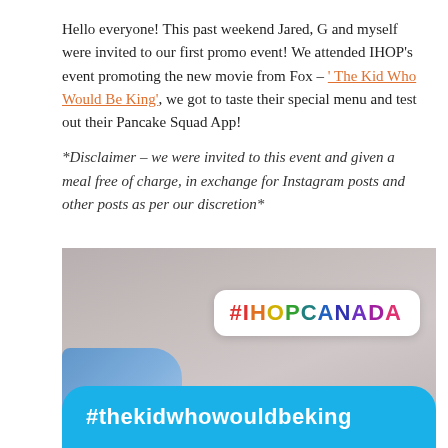Hello everyone! This past weekend Jared, G and myself were invited to our first promo event! We attended IHOP's event promoting the new movie from Fox – ' The Kid Who Would Be King', we got to taste their special menu and test out their Pancake Squad App!
*Disclaimer – we were invited to this event and given a meal free of charge, in exchange for Instagram posts and other posts as per our discretion*
[Figure (photo): Photo showing a blurred background with a white rounded badge displaying '#IHOPCANADA' in multicolored letters, and a blue rounded banner at the bottom reading '#thekidwhowouldbeking' in white bold text.]